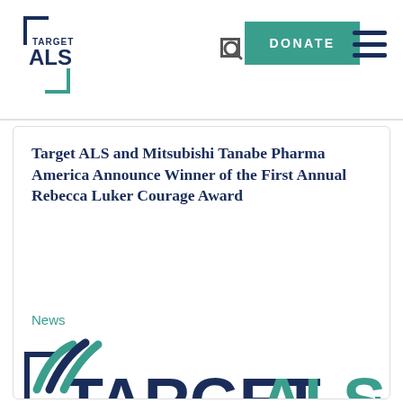[Figure (logo): Target ALS logo top-left navigation bar - bracket design with TARGET ALS text in navy and teal]
[Figure (screenshot): DONATE button in teal/green color in navigation]
[Figure (other): Hamburger menu icon with three horizontal navy lines]
Target ALS and Mitsubishi Tanabe Pharma America Announce Winner of the First Annual Rebecca Luker Courage Award
News
[Figure (logo): Large TARGET ALS logo with navy bracket on left and teal bracket on right, TARGET in navy bold and ALS in teal bold]
[Figure (logo): Partial logo at bottom - appears to be Mitsubishi Tanabe Pharma logo showing stylized swoosh marks in teal/navy]